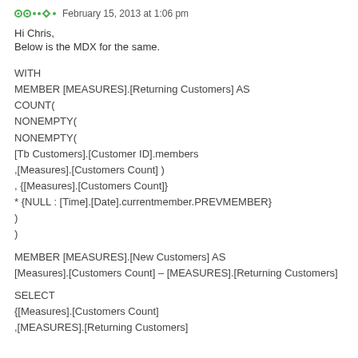February 15, 2013 at 1:06 pm
Hi Chris,
Below is the MDX for the same.
WITH
MEMBER [MEASURES].[Returning Customers] AS
COUNT(
NONEMPTY(
NONEMPTY(
[Tb Customers].[Customer ID].members
,[Measures].[Customers Count] )
, {[Measures].[Customers Count]}
* {NULL : [Time].[Date].currentmember.PREVMEMBER}
)
)

MEMBER [MEASURES].[New Customers] AS
[Measures].[Customers Count] – [MEASURES].[Returning Customers]

SELECT
{[Measures].[Customers Count]
,[MEASURES].[Returning Customers]